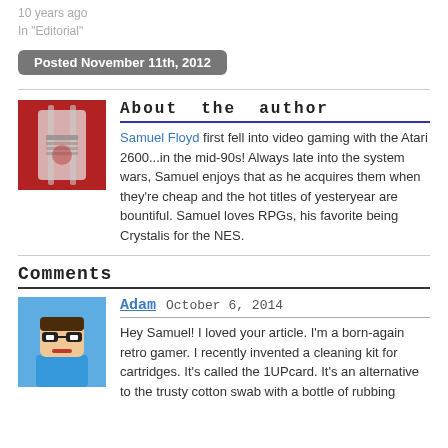10 years ago
In "Editorial"
Posted November 11th, 2012
About the author
Samuel Floyd first fell into video gaming with the Atari 2600...in the mid-90s! Always late into the system wars, Samuel enjoys that as he acquires them when they're cheap and the hot titles of yesteryear are bountiful. Samuel loves RPGs, his favorite being Crystalis for the NES.
Comments
Adam  October 6, 2014
Hey Samuel! I loved your article. I'm a born-again retro gamer. I recently invented a cleaning kit for cartridges. It's called the 1UPcard. It's an alternative to the trusty cotton swab with a bottle of rubbing